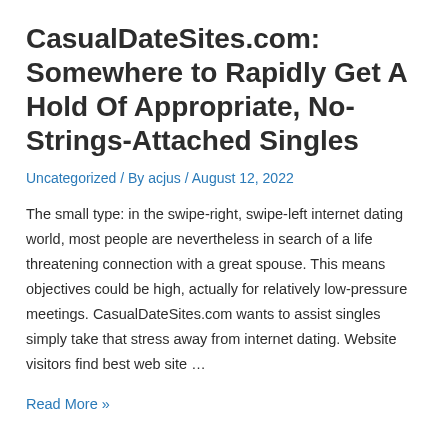CasualDateSites.com: Somewhere to Rapidly Get A Hold Of Appropriate, No-Strings-Attached Singles
Uncategorized / By acjus / August 12, 2022
The small type: in the swipe-right, swipe-left internet dating world, most people are nevertheless in search of a life threatening connection with a great spouse. This means objectives could be high, actually for relatively low-pressure meetings. CasualDateSites.com wants to assist singles simply take that stress away from internet dating. Website visitors find best web site …
Read More »